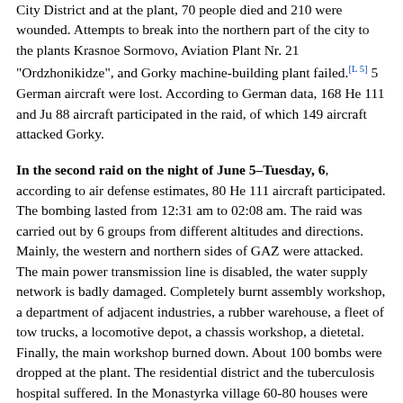City District and at the plant, 70 people died and 210 were wounded. Attempts to break into the northern part of the city to the plants Krasnoe Sormovo, Aviation Plant Nr. 21 "Ordzhonikidze", and Gorky machine-building plant failed. [L 5] 5 German aircraft were lost. According to German data, 168 He 111 and Ju 88 aircraft participated in the raid, of which 149 aircraft attacked Gorky.
In the second raid on the night of June 5–Tuesday, 6, according to air defense estimates, 80 He 111 aircraft participated. The bombing lasted from 12:31 am to 02:08 am. The raid was carried out by 6 groups from different altitudes and directions. Mainly, the western and northern sides of GAZ were attacked. The main power transmission line is disabled, the water supply network is badly damaged. Completely burnt assembly workshop, a department of adjacent industries, a rubber warehouse, a fleet of tow trucks, a locomotive depot, a chassis workshop, a dietetal. Finally, the main workshop burned down. About 100 bombs were dropped at the plant. The residential district and the tuberculosis hospital suffered. In the Monastyrka village 60-80 houses were burned and destroyed. According to German data, 128 planes were involved in the raid and 2 were lost. At the same time, some of the aircraft in the bombing of Gorky did not participate, but bombed Stalinogorsk.